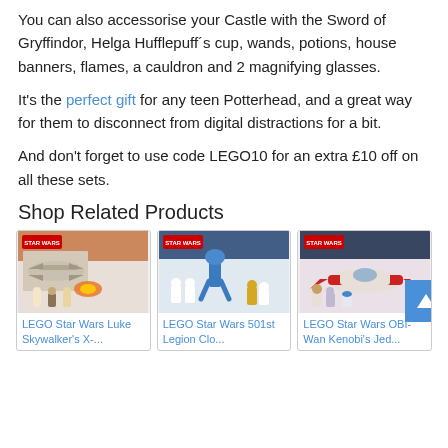You can also accessorise your Castle with the Sword of Gryffindor, Helga Hufflepuff´s cup, wands, potions, house banners, flames, a cauldron and 2 magnifying glasses.
It's the perfect gift for any teen Potterhead, and a great way for them to disconnect from digital distractions for a bit.
And don't forget to use code LEGO10 for an extra £10 off on all these sets.
Shop Related Products
[Figure (photo): LEGO Star Wars Luke Skywalker's X-Wing product box and built set]
LEGO Star Wars Luke Skywalker's X-...
[Figure (photo): LEGO Star Wars 501st Legion Clone Troopers product box and built set]
LEGO Star Wars 501st Legion Clo...
[Figure (photo): LEGO Star Wars OBI-Wan Kenobi's Jedi Starfighter product box and built set]
LEGO Star Wars OBI-Wan Kenobi's Jed...